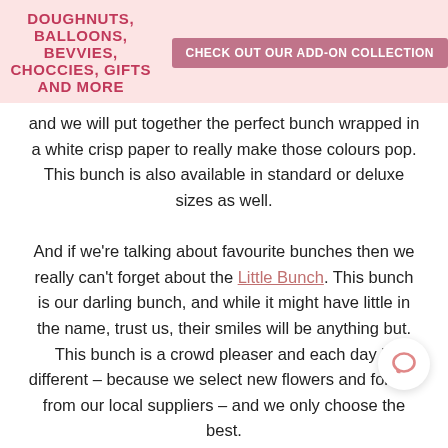DOUGHNUTS, BALLOONS, BEVVIES, CHOCCIES, GIFTS AND MORE  CHECK OUT OUR ADD-ON COLLECTION
and we will put together the perfect bunch wrapped in a white crisp paper to really make those colours pop. This bunch is also available in standard or deluxe sizes as well.
And if we're talking about favourite bunches then we really can't forget about the Little Bunch. This bunch is our darling bunch, and while it might have little in the name, trust us, their smiles will be anything but. This bunch is a crowd pleaser and each day is different – because we select new flowers and foliage from our local suppliers – and we only choose the best.
In addition to these flower bunches, we have a h collection of other bunches, and dried floral